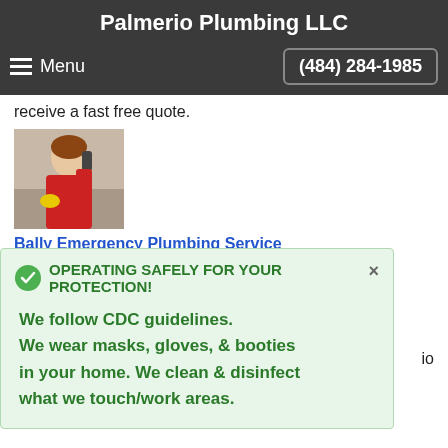Palmerio Plumbing LLC
receive a fast free quote.
[Figure (photo): Photo of a woman on the phone in a kitchen]
Bally Emergency Plumbing Service
Palmerio Plumbing LLC has the...
OPERATING SAFELY FOR YOUR PROTECTION! We follow CDC guidelines. We wear masks, gloves, & booties in your home. We clean & disinfect what we touch/work areas.
A water heater problem is one you don't want to put off. This is why Palmerio Plumbing LLC of Bally, PA provides you 24/7 service. So call now.